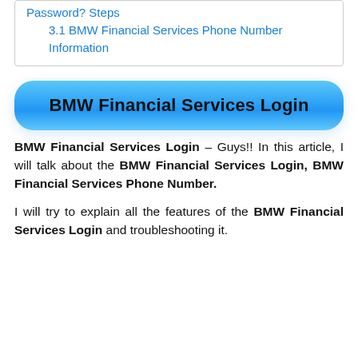Password? Steps
3.1 BMW Financial Services Phone Number Information
[Figure (other): Blue rounded button with text BMW Financial Services Login]
BMW Financial Services Login – Guys!! In this article, I will talk about the BMW Financial Services Login, BMW Financial Services Phone Number.
I will try to explain all the features of the BMW Financial Services Login and troubleshooting it.